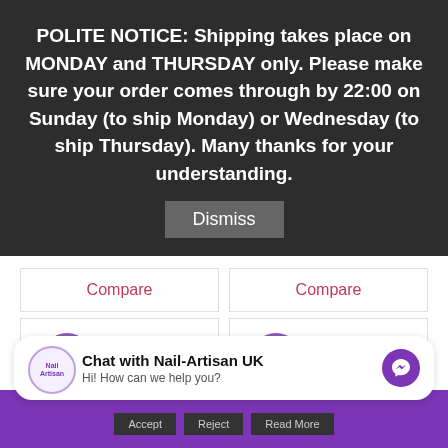POLITE NOTICE: Shipping takes place on MONDAY and THURSDAY only. Please make sure your order comes through by 22:00 on Sunday (to ship Monday) or Wednesday (to ship Thursday). Many thanks for your understanding.
Dismiss
Compare
Compare
[Figure (photo): Product card with purple Sale! badge and gold/brown glitter nail powder product image]
[Figure (photo): Product card with purple Sale! badge and purple glitter nail powder product image]
Chat with Nail-Artisan UK
Hi! How can we help you?
Accept    Reject    Read More